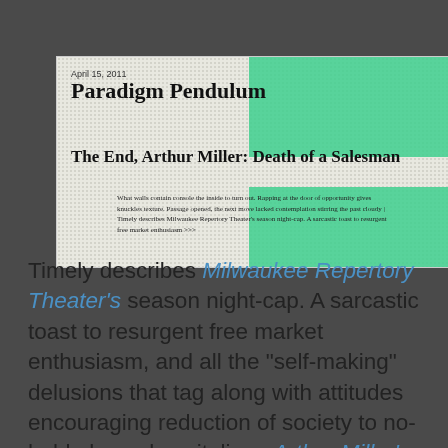[Figure (screenshot): Screenshot of a blog post titled 'Paradigm Pendulum' dated April 15, 2011, with subtitle 'The End, Arthur Miller: Death of a Salesman' and a short preview text. Has green decorative blocks and textured background.]
Timely describes Milwaukee Repertory Theater's season night-cap. A sarcastic toast to resurgent free market enthusiasm, and all the "self-making" delusions that tag along with attitudes encouraging reduction of society to no-holds-barred capitalism, Arthur Miller's classic challenges this exuberance prophetically. Death of a Salesman reminds us all of the virtue found